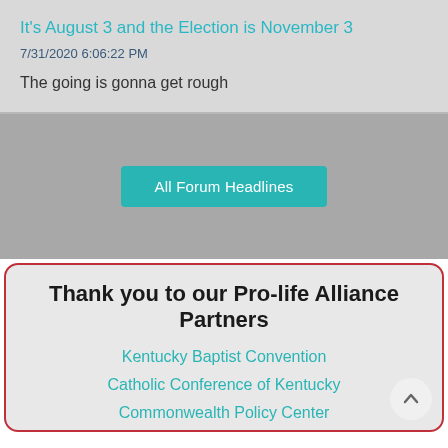It's August 3 and the Election is November 3
7/31/2020 6:06:22 PM
The going is gonna get rough
All Forum Headlines
Thank you to our Pro-life Alliance Partners
Kentucky Baptist Convention
Catholic Conference of Kentucky
Commonwealth Policy Center